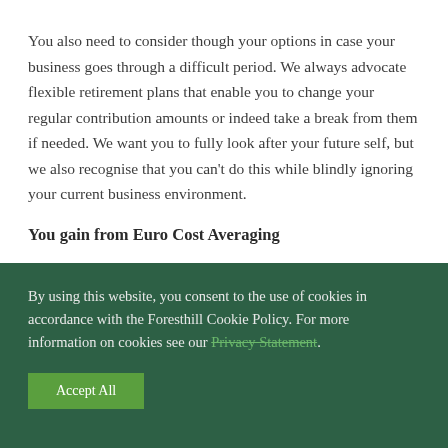You also need to consider though your options in case your business goes through a difficult period. We always advocate flexible retirement plans that enable you to change your regular contribution amounts or indeed take a break from them if needed. We want you to fully look after your future self, but we also recognise that you can't do this while blindly ignoring your current business environment.
You gain from Euro Cost Averaging
By using this website, you consent to the use of cookies in accordance with the Foresthill Cookie Policy. For more information on cookies see our Privacy Statement.